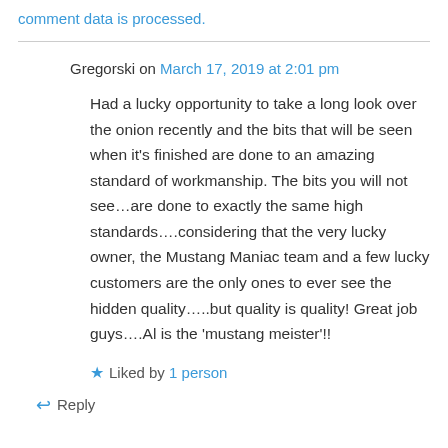comment data is processed.
Gregorski on March 17, 2019 at 2:01 pm
Had a lucky opportunity to take a long look over the onion recently and the bits that will be seen when it's finished are done to an amazing standard of workmanship. The bits you will not see…are done to exactly the same high standards….considering that the very lucky owner, the Mustang Maniac team and a few lucky customers are the only ones to ever see the hidden quality…..but quality is quality! Great job guys….Al is the 'mustang meister'!!
Liked by 1 person
Reply